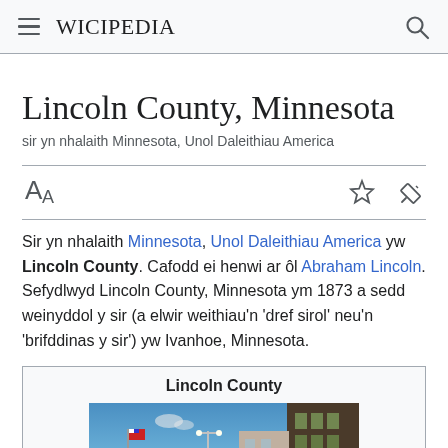≡ WICIPEDIA 🔍
Lincoln County, Minnesota
sir yn nhalaith Minnesota, Unol Daleithiau America
Sir yn nhalaith Minnesota, Unol Daleithiau America yw Lincoln County. Cafodd ei henwi ar ôl Abraham Lincoln. Sefydlwyd Lincoln County, Minnesota ym 1873 a sedd weinyddol y sir (a elwir weithiau'n 'dref sirol' neu'n 'brifddinas y sir') yw Ivanhoe, Minnesota.
| Lincoln County |
| --- |
| [photo of Lincoln County] |